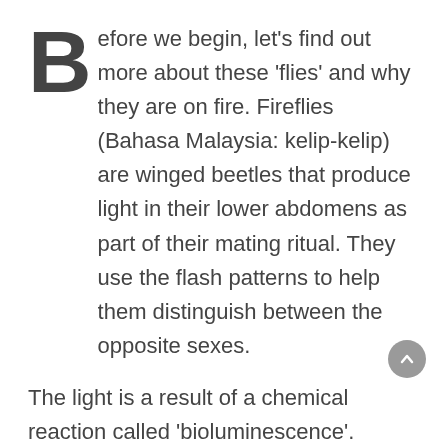Before we begin, let's find out more about these 'flies' and why they are on fire. Fireflies (Bahasa Malaysia: kelip-kelip) are winged beetles that produce light in their lower abdomens as part of their mating ritual. They use the flash patterns to help them distinguish between the opposite sexes.
The light is a result of a chemical reaction called 'bioluminescence'. Unlike a light bulb, the light produced in this process does not generate heat, so don't worry if one of them happens to alight on you — it's not going to burn your skin.
These fascinating creatures are commonly found in tropical areas, especially near marshes.